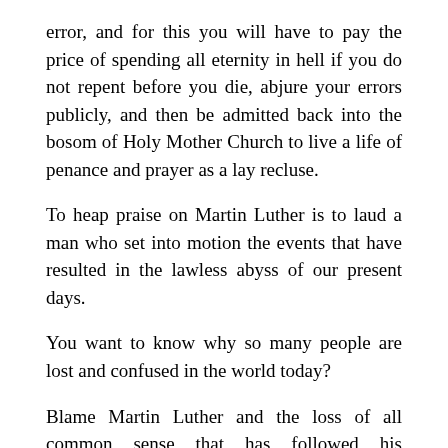error, and for this you will have to pay the price of spending all eternity in hell if you do not repent before you die, abjure your errors publicly, and then be admitted back into the bosom of Holy Mother Church to live a life of penance and prayer as a lay recluse.
To heap praise on Martin Luther is to laud a man who set into motion the events that have resulted in the lawless abyss of our present days.
You want to know why so many people are lost and confused in the world today?
Blame Martin Luther and the loss of all common sense that has followed his revolution against the Divine Plan that God Himself instituted to effect man's return to